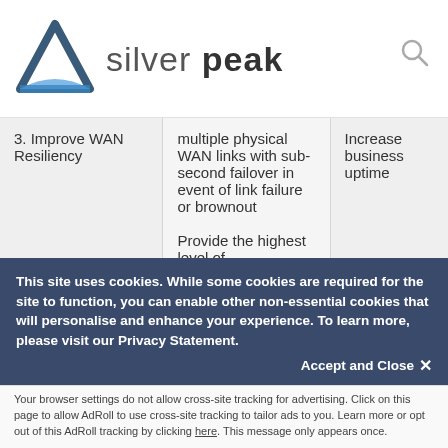Silver Peak logo and search icon
| 3. Improve WAN Resiliency | multiple physical WAN links with sub-second failover in event of link failure or brownout

Provide the highest level of | Increase business uptime |
This site uses cookies. While some cookies are required for the site to function, you can enable other non-essential cookies that will personalise and enhance your experience. To learn more, please visit our Privacy Statement.
Accept and Close ✕
Your browser settings do not allow cross-site tracking for advertising. Click on this page to allow AdRoll to use cross-site tracking to tailor ads to you. Learn more or opt out of this AdRoll tracking by clicking here. This message only appears once.